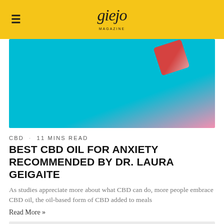giejo MAGAZINE
[Figure (photo): Product photo on teal/cyan background with a red box partially visible at top right corner, with pink background in corner]
CBD · 11 MINS READ
BEST CBD OIL FOR ANXIETY RECOMMENDED BY DR. LAURA GEIGAITE
As studies appreciate more about what CBD can do, more people embrace CBD oil, the oil-based form of CBD added to meals
Read More »
[Figure (other): Gray card/preview block at bottom of page]